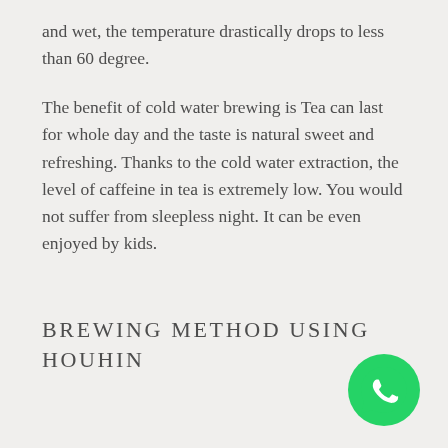and wet, the temperature drastically drops to less than 60 degree.
The benefit of cold water brewing is Tea can last for whole day and the taste is natural sweet and refreshing. Thanks to the cold water extraction, the level of caffeine in tea is extremely low. You would not suffer from sleepless night. It can be even enjoyed by kids.
BREWING METHOD USING HOUHIN
[Figure (logo): WhatsApp logo — green circle with white phone handset icon]